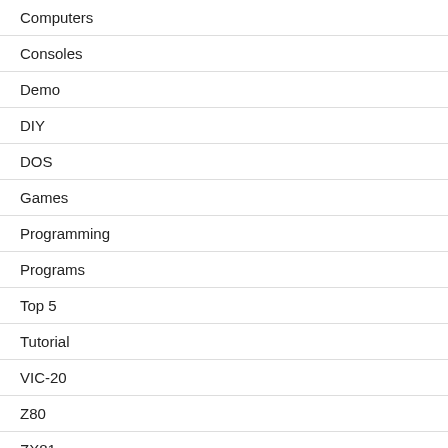Computers
Consoles
Demo
DIY
DOS
Games
Programming
Programs
Top 5
Tutorial
VIC-20
Z80
ZX81